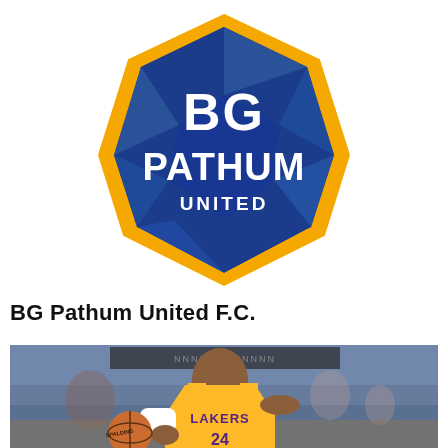[Figure (logo): BG Pathum United F.C. club crest — shield shape with blue geometric facets, gold/yellow border, white text 'BG PATHUM UNITED']
BG Pathum United F.C.
[Figure (photo): Basketball player wearing Los Angeles Lakers yellow jersey number 24 dribbling a Spalding basketball, blurred arena crowd in background]